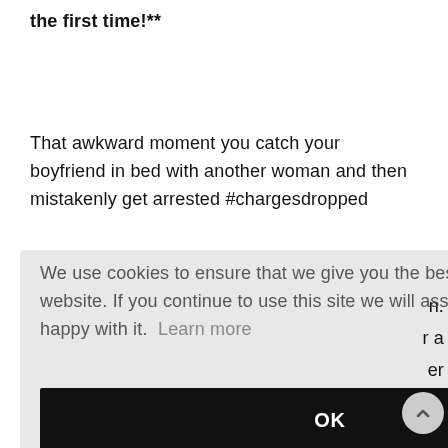the first time!**
That awkward moment you catch your boyfriend in bed with another woman and then mistakenly get arrested #chargesdropped
We use cookies to ensure that we give you the best experience on our website. If you continue to use this site we will assume that you are happy with it. Learn more
OK